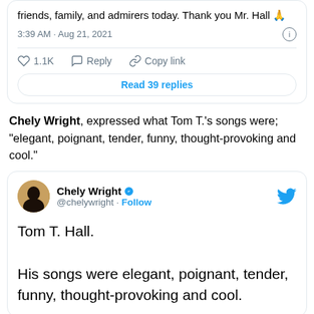[Figure (screenshot): Top portion of a tweet card showing text 'friends, family, and admirers today. Thank you Mr. Hall 🙏', timestamp '3:39 AM · Aug 21, 2021', action buttons (1.1K likes, Reply, Copy link), and a 'Read 39 replies' button.]
Chely Wright, expressed what Tom T.'s songs were; "elegant, poignant, tender, funny, thought-provoking and cool."
[Figure (screenshot): Tweet card from Chely Wright (@chelywright) with verified badge and Follow button. Tweet text: 'Tom T. Hall.

His songs were elegant, poignant, tender, funny, thought-provoking and cool.']